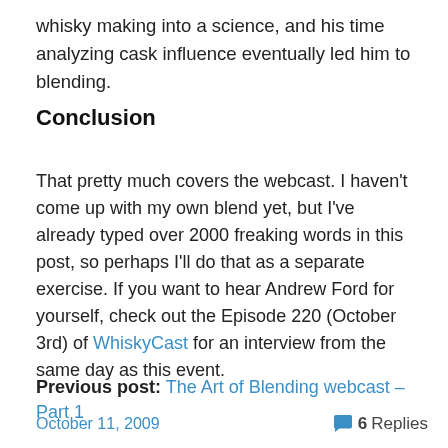whisky making into a science, and his time analyzing cask influence eventually led him to blending.
Conclusion
That pretty much covers the webcast. I haven't come up with my own blend yet, but I've already typed over 2000 freaking words in this post, so perhaps I'll do that as a separate exercise. If you want to hear Andrew Ford for yourself, check out the Episode 220 (October 3rd) of WhiskyCast for an interview from the same day as this event.
Previous post: The Art of Blending webcast – Part 1
October 11, 2009   6 Replies